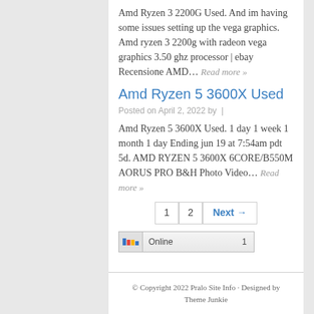Amd Ryzen 3 2200G Used. And im having some issues setting up the vega graphics. Amd ryzen 3 2200g with radeon vega graphics 3.50 ghz processor | ebay Recensione AMD… Read more »
Amd Ryzen 5 3600X Used
Posted on April 2, 2022 by |
Amd Ryzen 5 3600X Used. 1 day 1 week 1 month 1 day Ending jun 19 at 7:54am pdt 5d. AMD RYZEN 5 3600X 6CORE/B550M AORUS PRO B&H Photo Video… Read more »
1  2  Next →
[Figure (other): Online visitors widget showing colorful bar chart icon with 'Online 1' label]
© Copyright 2022 Pralo Site Info · Designed by Theme Junkie